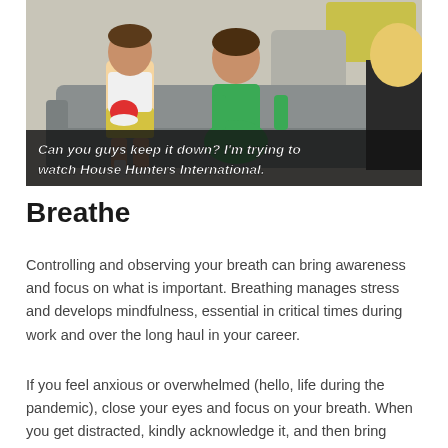[Figure (photo): Photo of people (children and an adult) sitting on a gray couch in a living room setting. Overlaid text caption at bottom reads: Can you guys keep it down? I'm trying to watch House Hunters International.]
Can you guys keep it down? I'm trying to watch House Hunters International.
Breathe
Controlling and observing your breath can bring awareness and focus on what is important. Breathing manages stress and develops mindfulness, essential in critical times during work and over the long haul in your career.
If you feel anxious or overwhelmed (hello, life during the pandemic), close your eyes and focus on your breath. When you get distracted, kindly acknowledge it, and then bring